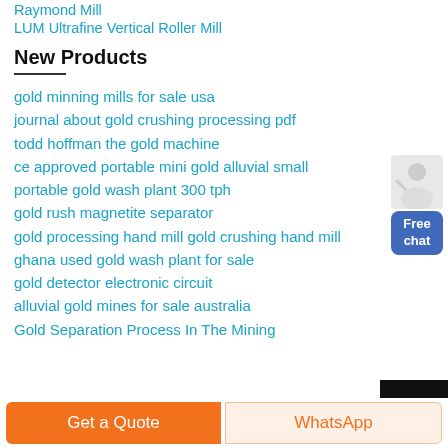Raymond Mill
LUM Ultrafine Vertical Roller Mill
New Products
gold minning mills for sale usa
journal about gold crushing processing pdf
todd hoffman the gold machine
ce approved portable mini gold alluvial small
portable gold wash plant 300 tph
gold rush magnetite separator
gold processing hand mill gold crushing hand mill
ghana used gold wash plant for sale
gold detector electronic circuit
alluvial gold mines for sale australia
Gold Separation Process In The Mining
Get a Quote | WhatsApp